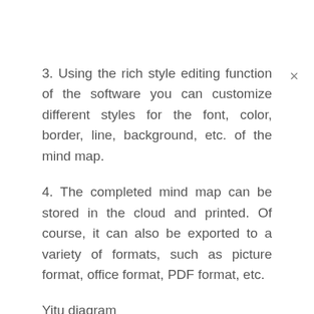3. Using the rich style editing function of the software you can customize different styles for the font, color, border, line, background, etc. of the mind map.
4. The completed mind map can be stored in the cloud and printed. Of course, it can also be exported to a variety of formats, such as picture format, office format, PDF format, etc.
Yitu diagram
A multi type graphic chart making software, which supports windows, MAC and Linux. The software can not only draw mind maps, but also draw flow charts,